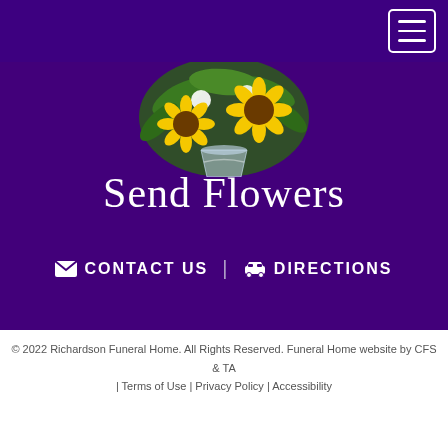[Figure (screenshot): Navigation bar with hamburger menu icon on purple background]
[Figure (photo): Flower arrangement in glass vase with yellow sunflowers and greenery]
Send Flowers
CONTACT US | DIRECTIONS
© 2022 Richardson Funeral Home. All Rights Reserved. Funeral Home website by CFS & TA | Terms of Use | Privacy Policy | Accessibility